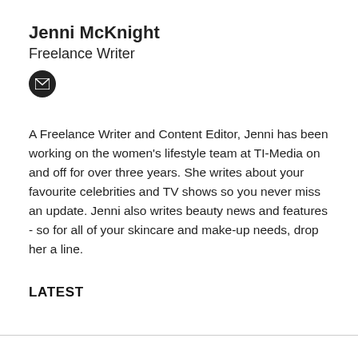Jenni McKnight
Freelance Writer
[Figure (illustration): Black circular email/envelope icon]
A Freelance Writer and Content Editor, Jenni has been working on the women's lifestyle team at TI-Media on and off for over three years. She writes about your favourite celebrities and TV shows so you never miss an update. Jenni also writes beauty news and features - so for all of your skincare and make-up needs, drop her a line.
LATEST